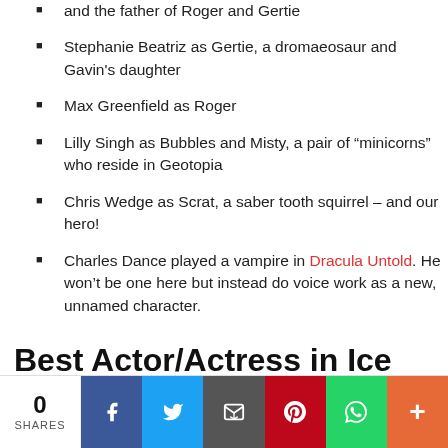and the father of Roger and Gertie
Stephanie Beatriz as Gertie, a dromaeosaur and Gavin's daughter
Max Greenfield as Roger
Lilly Singh as Bubbles and Misty, a pair of “minicorns” who reside in Geotopia
Chris Wedge as Scrat, a saber tooth squirrel – and our hero!
Charles Dance played a vampire in Dracula Untold. He won’t be one here but instead do voice work as a new, unnamed character.
Best Actor/Actress in Ice Age 6
0 SHARES | Facebook | Twitter | Email | Pinterest | WhatsApp | More